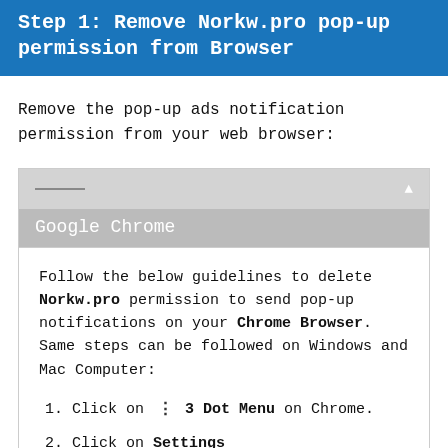Step 1: Remove Norkw.pro pop-up permission from Browser
Remove the pop-up ads notification permission from your web browser:
Google Chrome
Follow the below guidelines to delete Norkw.pro permission to send pop-up notifications on your Chrome Browser. Same steps can be followed on Windows and Mac Computer:
1. Click on ⋮ 3 Dot Menu on Chrome.
2. Click on Settings